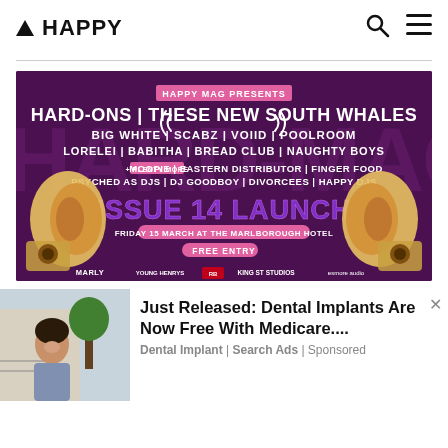▲ HAPPY
[Figure (illustration): Event poster for Happy Mag Issue 14 Launch on a dark purple background. Text reads: HAPPY MAG PRESENTS / HARD-ONS | THESE NEW SOUTH WHALES / BIG WHITE | SCABZ | VOIID | POOLROOM / LORELEI | BABITHA | BREAD CLUB | NAUGHTY BOYS / + PLENTY MORE: MOOPIE | EASTERN DISTRIBUTOR | FINGER FOOD / PSYCHED AS DJS | DJ GOODBOY | DIVORCEES | HAPPY DJS / ISSUE 14 LAUNCH / FRIDAY 15 MARCH AT THE MARLBOROUGH HOTEL / FREE ENTRY. Cartoon ear and speaker illustrations on sides. Sponsor logos at bottom: MARLY, YOUNG HENRYS, Red Bull, KING ST STUDIOS, esmore audio.]
Just Released: Dental Implants Are Now Free With Medicare....
Dental Implant | Search Ads | Sponsored